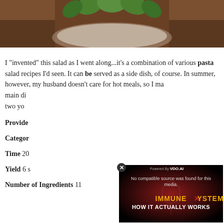[Figure (photo): Top portion of a food photo showing green leafy garnish on a dark wooden surface, partially cropped]
I "invented" this salad as I went along...it's a combination of various pasta salad recipes I'd seen. It can be served as a side dish, of course. In summer, however, my husband doesn't care for hot meals, so I make it a main di... two yo...
Provided by
Categories
Time 20...
Yield 6 s...
Number of Ingredients 11
[Figure (screenshot): Video player overlay showing 'No compatible source was found for this media.' with IMMUNE X SYSTEM HOW IT ACTUALLY WORKS text on dark red background, powered by VDO.AI]